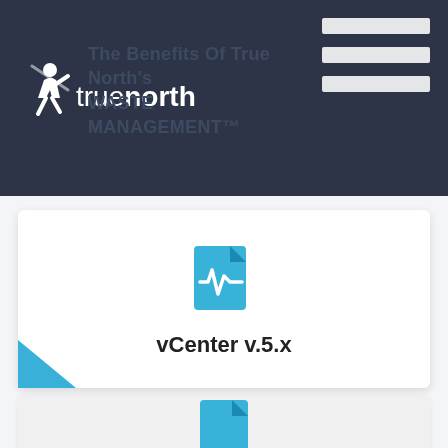[Figure (logo): True North logo with running figure icon and 'truenorth' wordmark in white on dark background]
The Benefits Of True North's WASTE MANAGEMENT™
Prerequisites:
[Figure (illustration): Blue document/file icon with pulse/waveform graphic, representing vCenter prerequisite]
vCenter v.5.x
[Figure (illustration): Blue document/file icon - second prerequisite item (partially visible)]